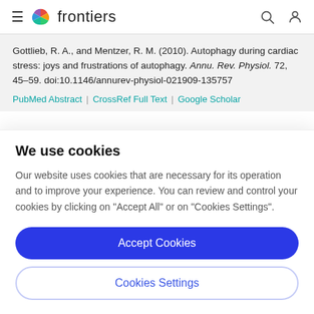frontiers
Gottlieb, R. A., and Mentzer, R. M. (2010). Autophagy during cardiac stress: joys and frustrations of autophagy. Annu. Rev. Physiol. 72, 45–59. doi:10.1146/annurev-physiol-021909-135757
PubMed Abstract | CrossRef Full Text | Google Scholar
We use cookies
Our website uses cookies that are necessary for its operation and to improve your experience. You can review and control your cookies by clicking on "Accept All" or on "Cookies Settings".
Accept Cookies
Cookies Settings